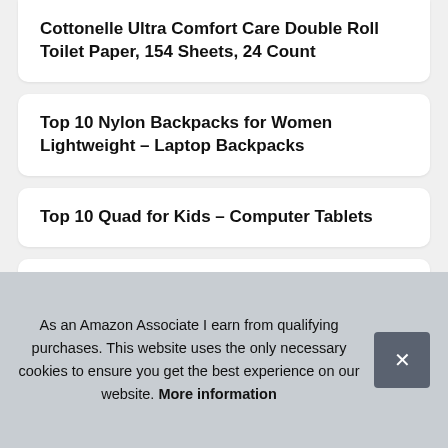Cottonelle Ultra Comfort Care Double Roll Toilet Paper, 154 Sheets, 24 Count
Top 10 Nylon Backpacks for Women Lightweight – Laptop Backpacks
Top 10 Quad for Kids – Computer Tablets
Top 10 Laptop Backpack 15.6 Inch – Laptop Backpacks
Rec
T
T
As an Amazon Associate I earn from qualifying purchases. This website uses the only necessary cookies to ensure you get the best experience on our website. More information